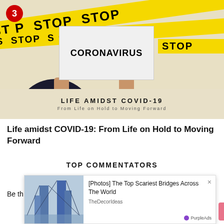[Figure (photo): Coronavirus themed photo: person in dark clothing holding a white sign reading CORONAVIRUS, surrounded by yellow STOP tape banners. Text overlay reads LIFE AMIDST COVID-19 / From Life on Hold to Moving Forward. Red badge with number 3 in top-left corner.]
Life amidst COVID-19: From Life on Hold to Moving Forward
TOP COMMENTATORS
Be th
[Figure (screenshot): Ad overlay showing an image of tall modern bridges/buildings with text: [Photos] The Top Scariest Bridges Across The World, source: TheDecorIdeas, branded by PurpleAds. Close (x) button in top right. Pink scroll-to-top button bottom right.]
Top Lifestyle Blogger Philippines